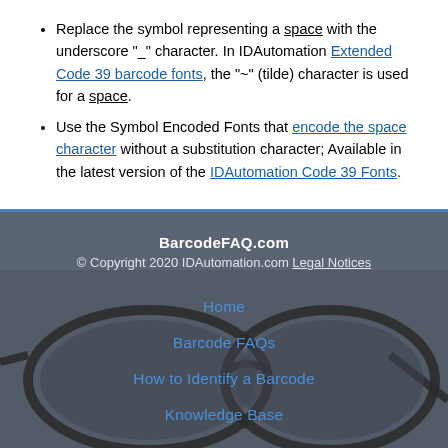Replace the symbol representing a space with the underscore "_" character. In IDAutomation Extended Code 39 barcode fonts, the "~" (tilde) character is used for a space.
Use the Symbol Encoded Fonts that encode the space character without a substitution character; Available in the latest version of the IDAutomation Code 39 Fonts.
BarcodeFAQ.com
© Copyright 2020 IDAutomation.com Legal Notices
[Figure (photo): A pair of dark-framed glasses photographed on a gray background, overlaid with navigation links: Home, Barcode FAQs, How to Identify a Barcode, Knowledge Base]